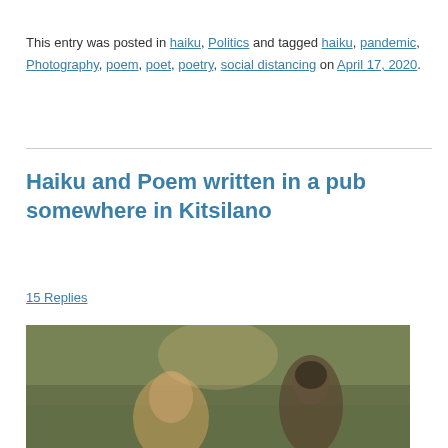This entry was posted in haiku, Politics and tagged haiku, pandemic, Photography, poem, poet, poetry, social distancing on April 17, 2020.
Haiku and Poem written in a pub somewhere in Kitsilano
15 Replies
[Figure (photo): A painting or photograph showing two figures with greenish/earthy tones in the background, one facing left and one facing right.]